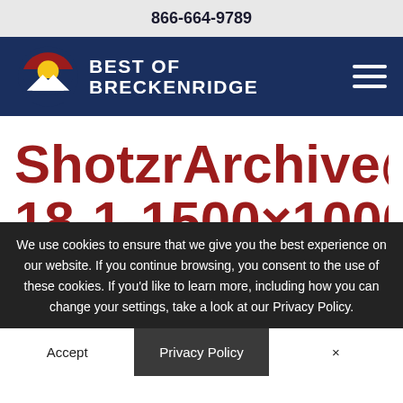866-664-9789
[Figure (logo): Best of Breckenridge logo with Colorado flag circle icon and navigation bar]
ShotzrArchive@sh 18-1-1500×1000
We use cookies to ensure that we give you the best experience on our website. If you continue browsing, you consent to the use of these cookies. If you'd like to learn more, including how you can change your settings, take a look at our Privacy Policy.
Accept | Privacy Policy | ×